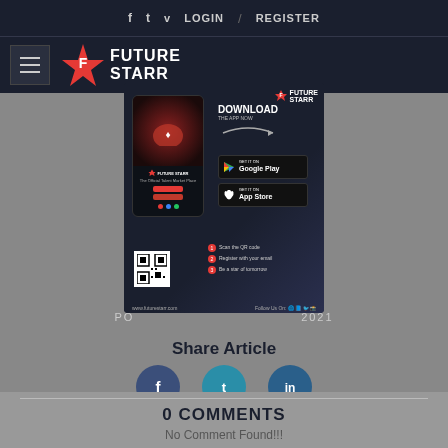f  t  v  LOGIN / REGISTER
[Figure (logo): Future Starr logo with hamburger menu]
[Figure (infographic): Future Starr app download advertisement banner with phone mockup, QR code, Google Play and App Store buttons]
PO... 2021
Share Article
[Figure (infographic): Social share icons: Facebook, Twitter, LinkedIn circles]
0 COMMENTS
No Comment Found!!!